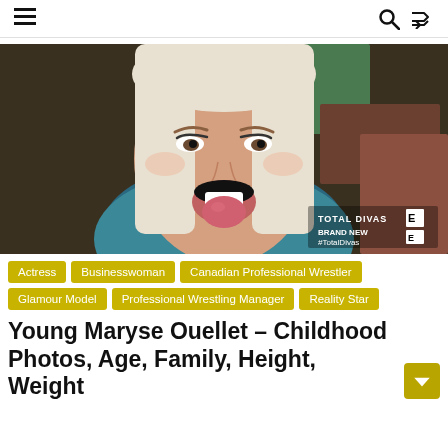≡  🔍  ⇄
[Figure (photo): A blonde woman with long straight platinum hair sticking her tongue out, wearing a teal/blue top. Bottom right corner shows 'TOTAL DIVAS BRAND NEW #TotalDivas E!' watermark.]
Actress
Businesswoman
Canadian Professional Wrestler
Glamour Model
Professional Wrestling Manager
Reality Star
Young Maryse Ouellet – Childhood Photos, Age, Family, Height, Weight